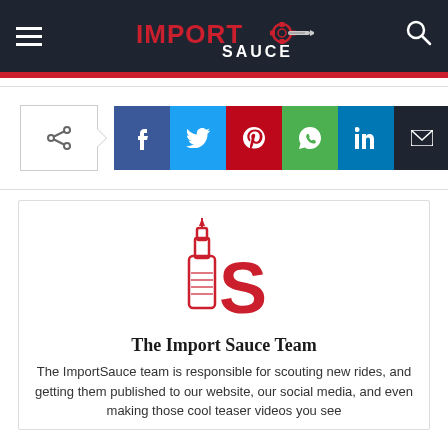Import Sauce
[Figure (screenshot): Social media share buttons: Facebook, Twitter, Pinterest, WhatsApp, LinkedIn, Email, Print]
[Figure (logo): Import Sauce IS logo with sauce bottle]
The Import Sauce Team
The ImportSauce team is responsible for scouting new rides, and getting them published to our website, our social media, and even making those cool teaser videos you see